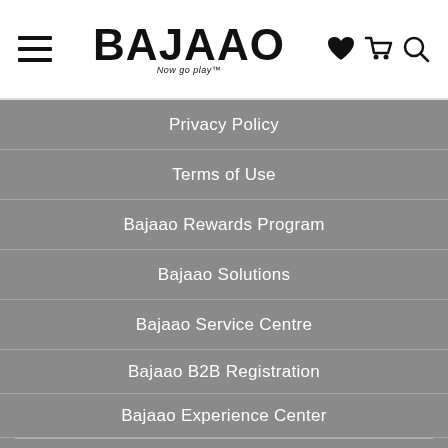BAJAAO — Now go play™ (navigation header with hamburger menu, logo, heart/cart/search icons)
Privacy Policy
Terms of Use
Bajaao Rewards Program
Bajaao Solutions
Bajaao Service Centre
Bajaao B2B Registration
Bajaao Experience Center
SERVICES – SUPPORT